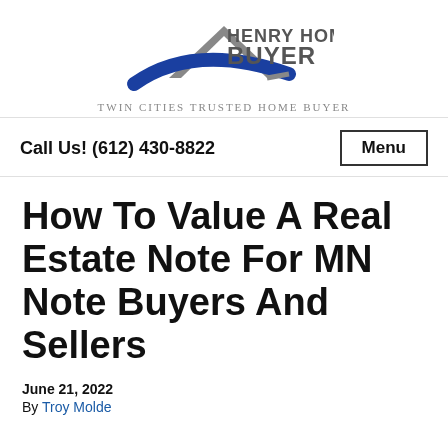[Figure (logo): Henry Home Buyer logo with house/roof graphic in blue and gray, and text 'HENRY HOME BUYER' in gray bold capitals]
Twin Cities Trusted Home Buyer
Call Us! (612) 430-8822
Menu
How To Value A Real Estate Note For MN Note Buyers And Sellers
June 21, 2022
By Troy Molde